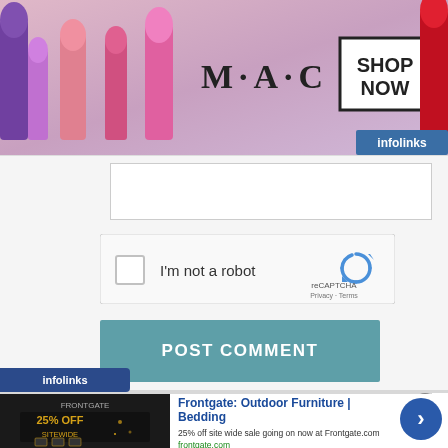[Figure (screenshot): MAC cosmetics banner ad showing lipsticks on left and right, MAC logo in center, SHOP NOW button in a box, with infolinks badge and close button]
[Figure (screenshot): reCAPTCHA widget with checkbox, 'I'm not a robot' text, reCAPTCHA logo with Privacy and Terms links]
[Figure (screenshot): POST COMMENT button in teal/blue-gray color]
[Figure (screenshot): Infolinks badge at bottom left]
[Figure (screenshot): Frontgate outdoor furniture advertisement with image, title, description, URL, and arrow button]